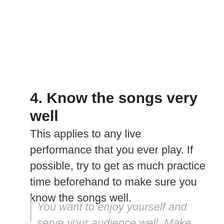4. Know the songs very well
This applies to any live performance that you ever play. If possible, try to get as much practice time beforehand to make sure you know the songs well.
You want to enjoy yourself and serve your audience well. Make